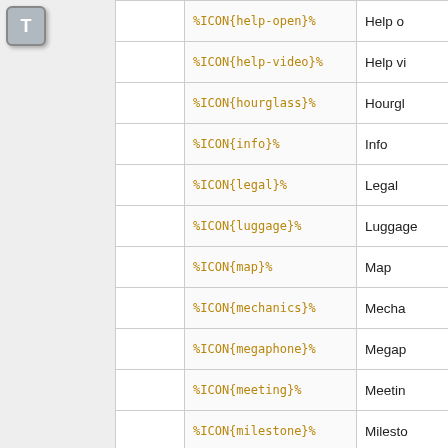[Figure (other): Gray square icon with letter T, representing a toolbar or template button]
|  | Code | Description |
| --- | --- | --- |
|  | %ICON{help-open}% | Help o… |
|  | %ICON{help-video}% | Help vi… |
|  | %ICON{hourglass}% | Hourgl… |
|  | %ICON{info}% | Info |
|  | %ICON{legal}% | Legal |
|  | %ICON{luggage}% | Luggage… |
|  | %ICON{map}% | Map |
|  | %ICON{mechanics}% | Mecha… |
|  | %ICON{megaphone}% | Megap… |
|  | %ICON{meeting}% | Meetin… |
|  | %ICON{milestone}% | Milesto… |
|  | %ICON{mission}% | Mission… |
|  | %ICON{mobile}% | Mobile |
|  | %ICON{mobile-carrier}% | Mobile |
|  | %ICON{more}% | Read m… |